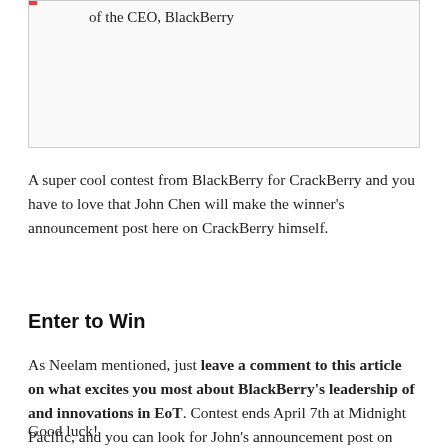of the CEO, BlackBerry
A super cool contest from BlackBerry for CrackBerry and you have to love that John Chen will make the winner's announcement post here on CrackBerry himself.
Enter to Win
As Neelam mentioned, just leave a comment to this article on what excites you most about BlackBerry's leadership of and innovations in EoT. Contest ends April 7th at Midnight Pacific, and you can look for John's announcement post on Monday, April 10th.
Good luck!